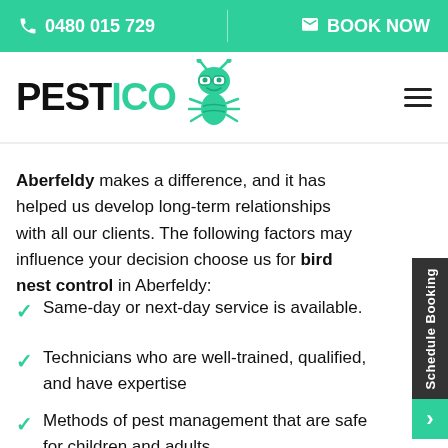📞 0480 015 729  ✉ BOOK NOW
[Figure (logo): PESTICO logo with green ant/bug mascot character wearing glasses]
Aberfeldy makes a difference, and it has helped us develop long-term relationships with all our clients. The following factors may influence your decision choose us for bird nest control in Aberfeldy:
Same-day or next-day service is available.
Technicians who are well-trained, qualified, and have expertise
Methods of pest management that are safe for children and adults
Quotes in advance and competitive pricing
Service that is friendly and warm